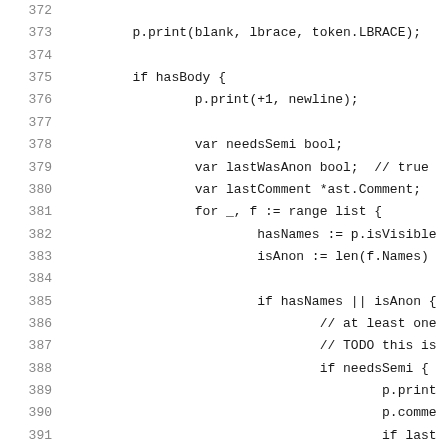372  
373      p.print(blank, lbrace, token.LBRACE);
374  
375      if hasBody {
376          p.print(+1, newline);
377  
378              var needsSemi bool;
379              var lastWasAnon bool;  // true
380              var lastComment *ast.Comment;
381              for _, f := range list {
382                  hasNames := p.isVisible
383                  isAnon := len(f.Names)
384  
385                  if hasNames || isAnon {
386                      // at least one
387                      // TODO this is
388                      if needsSemi {
389                          p.print
390                          p.comme
391                          if last
392  
393